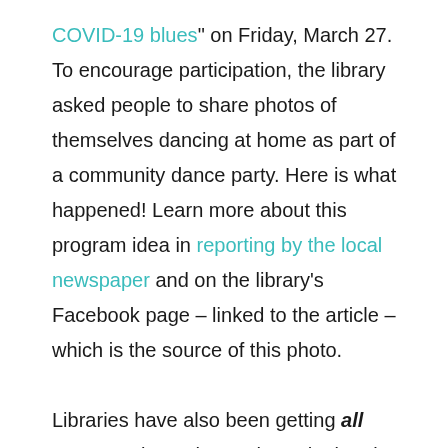COVID-19 blues" on Friday, March 27. To encourage participation, the library asked people to share photos of themselves dancing at home as part of a community dance party. Here is what happened! Learn more about this program idea in reporting by the local newspaper and on the library's Facebook page – linked to the article – which is the source of this photo.

Libraries have also been getting all ages moving at home through virtual programming. We have seen libraries